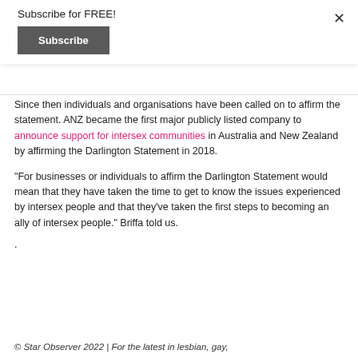Subscribe for FREE!
Subscribe
×
Since then individuals and organisations have been called on to affirm the statement. ANZ became the first major publicly listed company to announce support for intersex communities in Australia and New Zealand by affirming the Darlington Statement in 2018.
“For businesses or individuals to affirm the Darlington Statement would mean that they have taken the time to get to know the issues experienced by intersex people and that they’ve taken the first steps to becoming an ally of intersex people.” Briffa told us.
.
© Star Observer 2022 | For the latest in lesbian, gay,